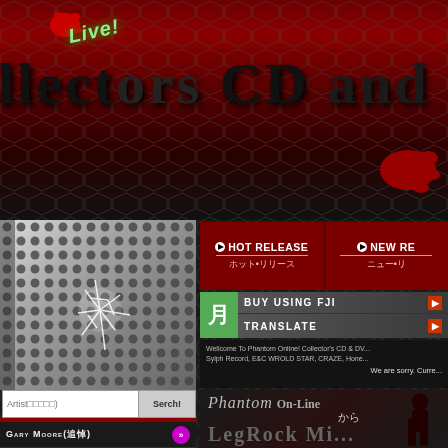[Figure (screenshot): Website header with dark hexagon pattern background, red gradient banner, 'Live!' in green italic, and large black text 'llectors CD and DVD']
Live! llectors CD and DVD
[Figure (screenshot): Navigation tabs: HOT RELEASE (ホット•リリース) and NEW RE... (ニュー•リ...) on dark red background]
HOT RELEASE ホット•リリース
NEW RE... ニュー•リ...
[Figure (screenshot): Green kanji box (月), BUY USING FJI button with red arrow, TRANSLATE button with red arrow]
BUY USING FJI
TRANSLATE
Wellcome To Phantom Online! Collector's CD & DV... Sylph Record, E&C WROLD STAR, CRAZE, Hone... We are sorry. Curre...
[Figure (screenshot): Phantom On-Line logo with silhouette, から text, and LegRock Mi... text at bottom]
Phantom On-Line から LegRock Mi...
[Figure (screenshot): Left panel: perforated metal with cracked glass effect]
Artist□□□□□)
Serch!
PICK UP ITEM
Gary Moore(追悼)
BON JOVI
Michael Jackson